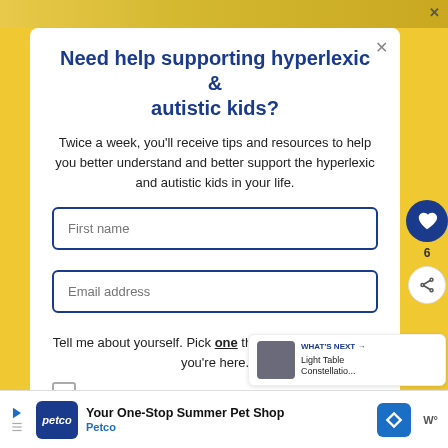Need help supporting hyperlexic & autistic kids?
Twice a week, you'll receive tips and resources to help you better understand and better support the hyperlexic and autistic kids in your life.
First name
Email address
Tell me about yourself. Pick one that best describes why you're here.
I'm a parent or grandparent
[Figure (screenshot): What's Next panel showing Light Table Constellatio... thumbnail]
Your One-Stop Summer Pet Shop Petco